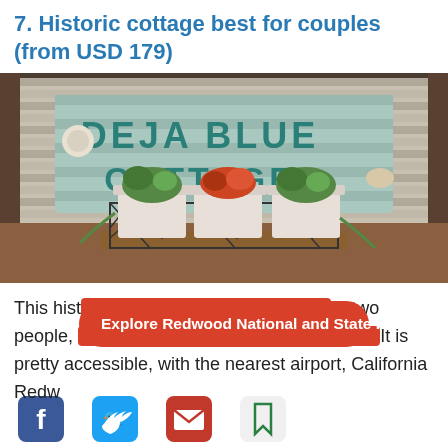7. Historic cottage best for couples (from USD 179)
[Figure (photo): Photo of a 'Deja Blue Cottage' wooden sign with teal stenciled letters, displayed near a window with blinds. In front of the sign is a wire basket holding three white ceramic pots with succulent and colorful plants.]
This historic cottage best for couples (from USD 179) accommodates up to two people, making it a perfect retreat for couples. It is pretty accessible, with the nearest airport, California Redw...
[Figure (infographic): Red pill-shaped button overlay reading 'Explore Redwood National and State Parks']
[Figure (infographic): Social sharing bar with Facebook, Twitter, Email, and Bookmark icons]